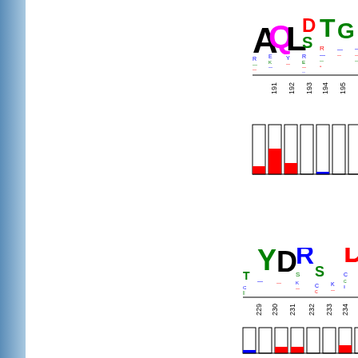[Figure (other): Sequence logo showing amino acid conservation at positions 191-198, with large letters A, Q, L, D, S, T, G visible, plus smaller stacked letters below. Below the logo is a bar chart showing conservation scores from 0 to 16 for positions 191-198.]
[Figure (other): Sequence logo showing amino acid conservation at positions 229-236, with large letters Y, D, R, S, D visible, plus smaller stacked letters. Below the logo is a bar chart showing conservation scores from 0 to 16 for positions 229-236.]